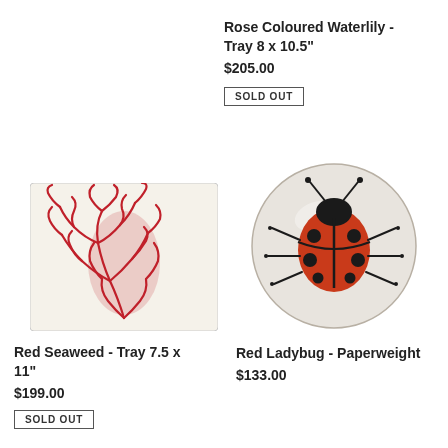Rose Coloured Waterlily - Tray 8 x 10.5"
$205.00
SOLD OUT
[Figure (illustration): Red seaweed illustration on a light rectangular tray background]
Red Seaweed - Tray 7.5 x 11"
$199.00
SOLD OUT
[Figure (illustration): Red ladybug on a round glass paperweight with light background]
Red Ladybug - Paperweight
$133.00